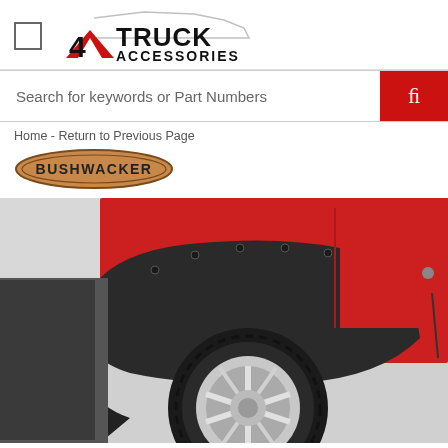4 Truck Accessories
Search for keywords or Part Numbers
Home - Return to Previous Page
[Figure (logo): Bushwacker brand oval logo in tan/brown color]
[Figure (photo): Red Jeep Wrangler with black Bushwacker fender flares installed on rear quarter panel, chrome wheel visible, off-road tires]